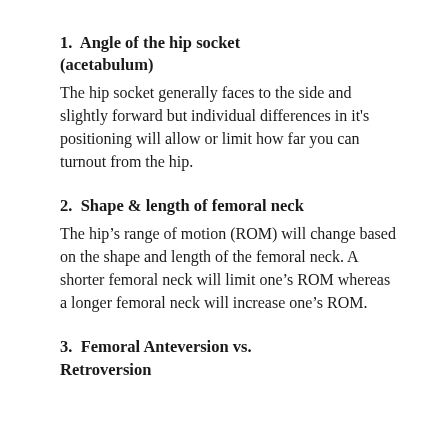1.  Angle of the hip socket (acetabulum)
The hip socket generally faces to the side and slightly forward but individual differences in it's positioning will allow or limit how far you can turnout from the hip.
2.  Shape & length of femoral neck
The hip’s range of motion (ROM) will change based on the shape and length of the femoral neck. A shorter femoral neck will limit one’s ROM whereas a longer femoral neck will increase one’s ROM.
3.  Femoral Anteversion vs. Retroversion